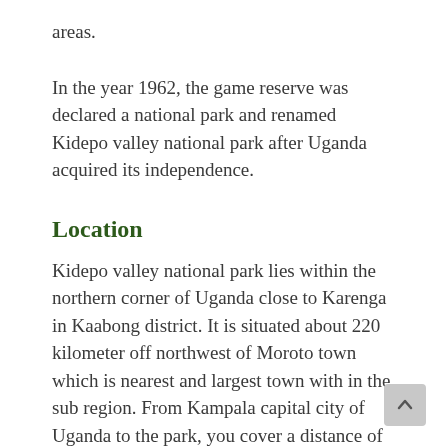areas.
In the year 1962, the game reserve was declared a national park and renamed Kidepo valley national park after Uganda acquired its independence.
Location
Kidepo valley national park lies within the northern corner of Uganda close to Karenga in Kaabong district. It is situated about 220 kilometer off northwest of Moroto town which is nearest and largest town with in the sub region. From Kampala capital city of Uganda to the park, you cover a distance of about 520 kilometers by road taking the northeast direction of the Uganda.In the north western corner, Kidepo valley national park stretches its boundaries adjacent to international Frontier with